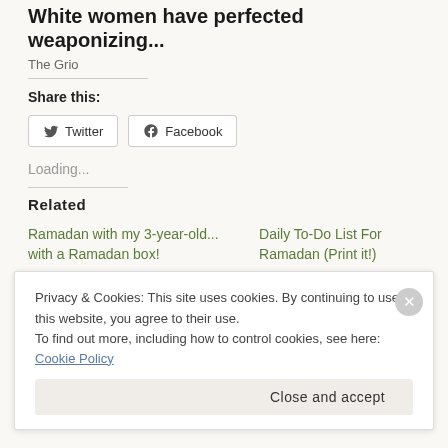White women have perfected weaponizing...
The Grio
Share this:
Twitter  Facebook
Loading...
Related
Ramadan with my 3-year-old... with a Ramadan box!
Daily To-Do List For Ramadan (Print it!)
Privacy & Cookies: This site uses cookies. By continuing to use this website, you agree to their use.
To find out more, including how to control cookies, see here: Cookie Policy
Close and accept